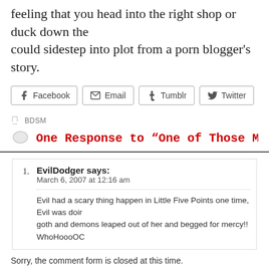feeling that you head into the right shop or duck down the could sidestep into plot from a porn blogger’s story.
Facebook
Email
Tumblr
Twitter
BDSM
One Response to “One of Those Magic Places
EvilDodger says:
March 6, 2007 at 12:16 am

Evil had a scary thing happen in Little Five Points one time, Evil was doir goth and demons leaped out of her and begged for mercy!! WhoHoooOC
Sorry, the comment form is closed at this time.